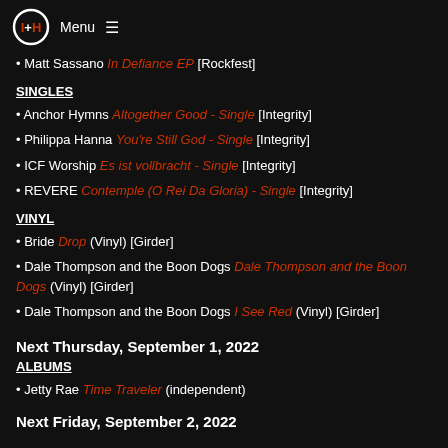Menu
Matt Sassano In Defiance EP [Rockfest]
SINGLES
Anchor Hymns Altogether Good - Single [Integrity]
Philippa Hanna You're Still God - Single [Integrity]
ICF Worship Es ist vollbracht - Single [Integrity]
REVERE Contemple (O Rei Da Gloria) - Single [Integrity]
VINYL
Bride Drop (Vinyl) [Girder]
Dale Thompson and the Boon Dogs Dale Thompson and the Boon Dogs (Vinyl) [Girder]
Dale Thompson and the Boon Dogs I See Red (Vinyl) [Girder]
Next Thursday, September 1, 2022
ALBUMS
Jetty Rae Time Traveler (independent)
Next Friday, September 2, 2022